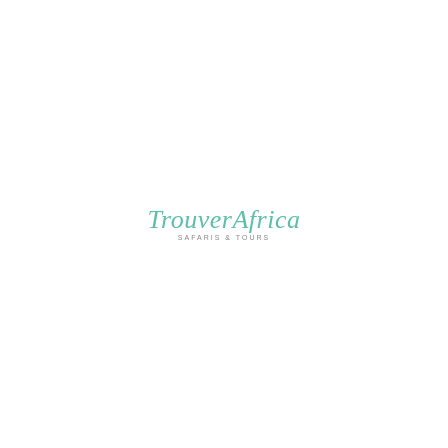[Figure (logo): TrouverAfrica Safaris & Tours logo. The main wordmark 'TrouverAfrica' is in a handwritten/script style in medium teal/mint green. Below it, in smaller gray uppercase sans-serif text: 'SAFARIS & TOURS'.]